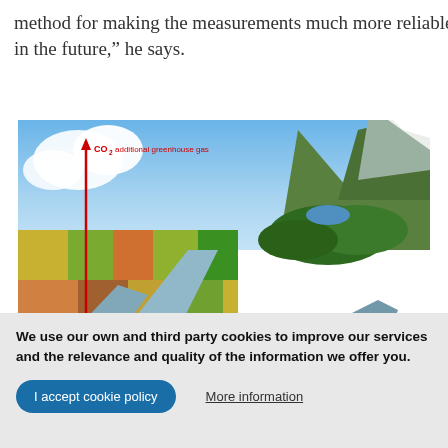method for making the measurements much more reliable in the future," he says.
[Figure (illustration): Aerial illustration of a river delta landscape showing agricultural fields, forests, and mountains. A red double-headed arrow is overlaid on the left side of the image. At the top of the arrow is the label 'CO2 additional greenhouse gas' in red text. At the bottom of the arrow is the label 'CO2 outgassing' in red text. The arrow illustrates CO2 cycling between the river/land surface and the atmosphere.]
We use our own and third party cookies to improve our services and the relevance and quality of the information we offer you.